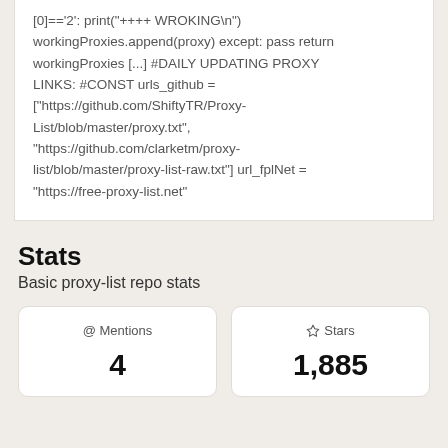[0]=='2': print("++++ WROKING\n") workingProxies.append(proxy) except: pass return workingProxies [...] #DAILY UPDATING PROXY LINKS: #CONST urls_github = ["https://github.com/ShiftyTR/Proxy-List/blob/master/proxy.txt", "https://github.com/clarketm/proxy-list/blob/master/proxy-list-raw.txt"] url_fplNet = "https://free-proxy-list.net"
Stats
Basic proxy-list repo stats
| @ Mentions | ☆ Stars |
| --- | --- |
| 4 | 1,885 |